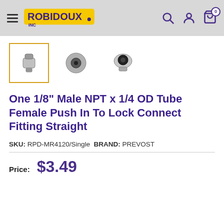Robidoux Inc — navigation header with search, account, and cart icons
[Figure (photo): Three thumbnail images of a pneumatic push-to-lock fitting connector: front view (selected, yellow border), side view, and back view]
One 1/8" Male NPT x 1/4 OD Tube Female Push In To Lock Connect Fitting Straight
SKU: RPD-MR4120/Single  BRAND: PREVOST
Price: $3.49